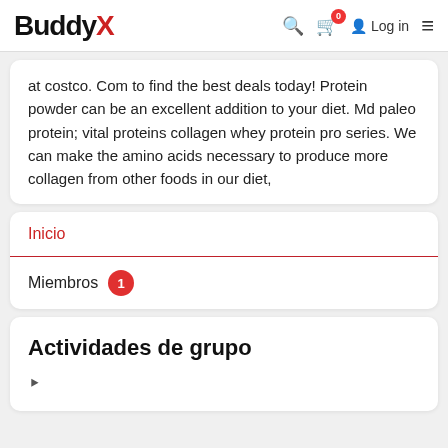BuddyX — Log in
at costco. Com to find the best deals today! Protein powder can be an excellent addition to your diet. Md paleo protein; vital proteins collagen whey protein pro series. We can make the amino acids necessary to produce more collagen from other foods in our diet,
Inicio
Miembros 1
Actividades de grupo